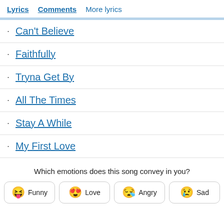Lyrics   Comments   More lyrics
Can't Believe
Faithfully
Tryna Get By
All The Times
Stay A While
My First Love
Which emotions does this song convey in you?
😝 Funny   😍 Love   😪 Angry   😢 Sad